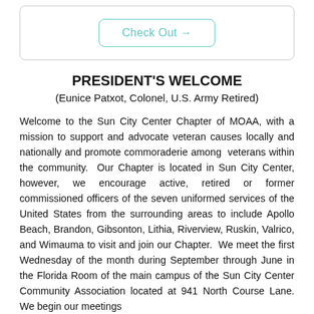[Figure (other): A rounded box with a 'Check Out →' button styled with teal/cyan border and text]
PRESIDENT'S WELCOME
(Eunice Patxot, Colonel, U.S. Army Retired)
Welcome to the Sun City Center Chapter of MOAA, with a mission to support and advocate veteran causes locally and nationally and promote commoraderie among veterans within the community.  Our Chapter is located in Sun City Center, however, we encourage active, retired or former commissioned officers of the seven uniformed services of the United States from the surrounding areas to include Apollo Beach, Brandon, Gibsonton, Lithia, Riverview, Ruskin, Valrico, and Wimauma to visit and join our Chapter.  We meet the first Wednesday of the month during September through June in the Florida Room of the main campus of the Sun City Center Community Association located at 941 North Course Lane. We begin our meetings